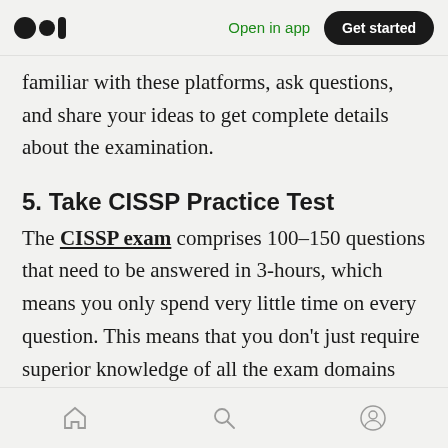Open in app | Get started
familiar with these platforms, ask questions, and share your ideas to get complete details about the examination.
5. Take CISSP Practice Test
The CISSP exam comprises 100–150 questions that need to be answered in 3-hours, which means you only spend very little time on every question. This means that you don't just require superior knowledge of all the exam domains but a substantial understanding of your time management and stress management.
Home | Search | Profile